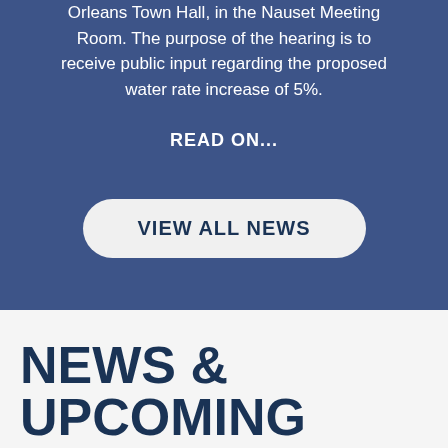Orleans Town Hall, in the Nauset Meeting Room. The purpose of the hearing is to receive public input regarding the proposed water rate increase of 5%.
READ ON...
VIEW ALL NEWS
NEWS & UPCOMING